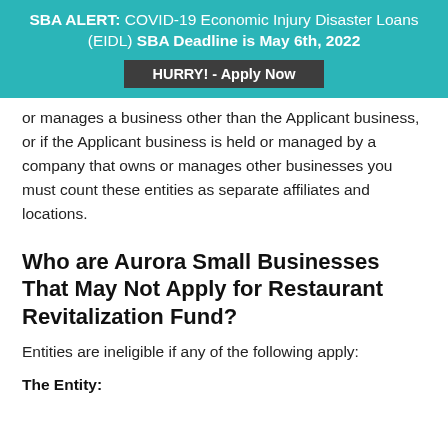SBA ALERT: COVID-19 Economic Injury Disaster Loans (EIDL) SBA Deadline is May 6th, 2022
HURRY! - Apply Now
or manages a business other than the Applicant business, or if the Applicant business is held or managed by a company that owns or manages other businesses you must count these entities as separate affiliates and locations.
Who are Aurora Small Businesses That May Not Apply for Restaurant Revitalization Fund?
Entities are ineligible if any of the following apply:
The Entity: